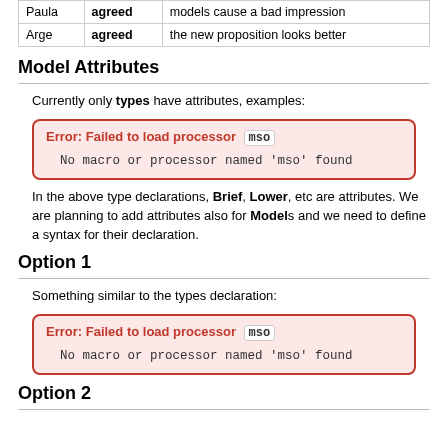| Paula | agreed | models cause a bad impression |
| Arge | agreed | the new proposition looks better |
Model Attributes
Currently only types have attributes, examples:
Error: Failed to load processor mso
No macro or processor named 'mso' found
In the above type declarations, Brief, Lower, etc are attributes. We are planning to add attributes also for Models and we need to define a syntax for their declaration.
Option 1
Something similar to the types declaration:
Error: Failed to load processor mso
No macro or processor named 'mso' found
Option 2